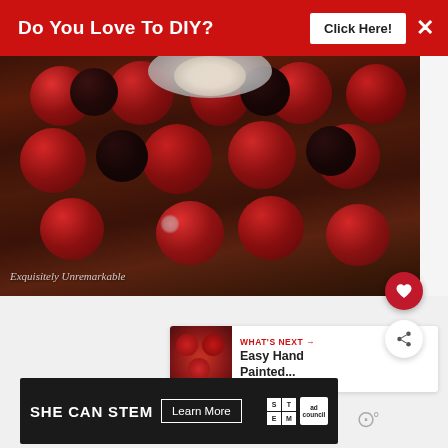Do You Love To DIY?   Click Here!   ✕
[Figure (photo): A decorative wreath made of red and dark apples arranged around a silver plate with a candle on a wooden table. Text watermark 'Exquisitely Unremarkable' in bottom left.]
WHAT'S NEXT → Easy Hand Painted...
[Figure (photo): Thumbnail image of a hand painted item, small square preview]
SHE CAN STEM   Learn More